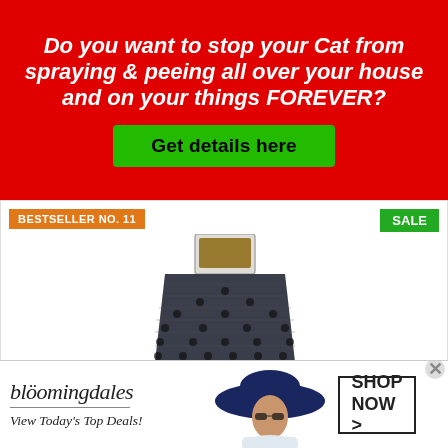Do you want to stop your Cat from spraying & peeing all over your house and on your things FOREVER?
Get details here
[Figure (photo): Product listing card showing a cat litter mat (dark patterned mat with dotted texture) with a litter box on top, labeled BESTSELLER NO. 11 and SALE]
Drymate Original Cat Litter Mat, Contains Mess from Box for Cleaner Floors, Urine-Proof, Soft on Kitty Paws...
[Figure (photo): Bloomingdale's advertisement banner with woman in large hat. Text: bloomingdales, View Today's Top Deals! SHOP NOW >]